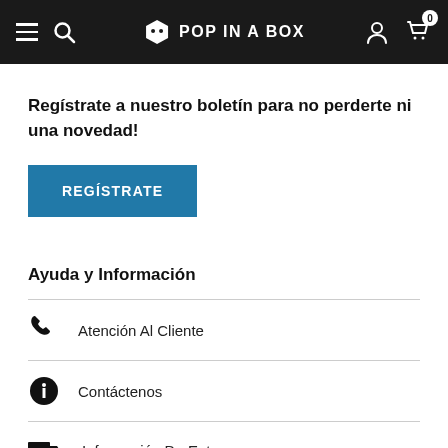POP IN A BOX
Regístrate a nuestro boletín para no perderte ni una novedad!
REGÍSTRATE
Ayuda y Información
Atención Al Cliente
Contáctenos
Información De Entrega